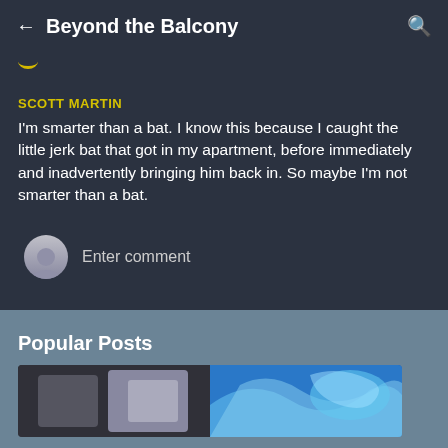Beyond the Balcony
SCOTT MARTIN
I'm smarter than a bat. I know this because I caught the little jerk bat that got in my apartment, before immediately and inadvertently bringing him back in. So maybe I'm not smarter than a bat.
Enter comment
Popular Posts
[Figure (photo): Thumbnail images of popular posts — left image shows dark grey abstract shapes, right image shows blue swirling artistic illustration]